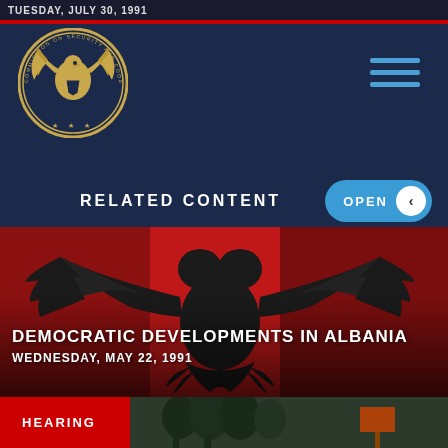TUESDAY, JULY 30, 1991
[Figure (logo): Commission on Security and Cooperation in Europe circular seal with eagle emblem in gold on dark background]
RELATED CONTENT
[Figure (photo): Albanian national flag showing black double-headed eagle on red background, waving]
DEMOCRATIC DEVELOPMENTS IN ALBANIA
WEDNESDAY, MAY 22, 1991
HEARING